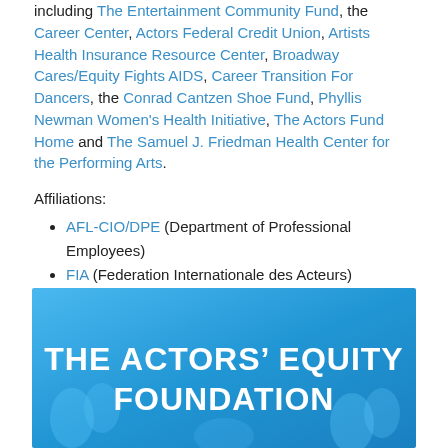including The Entertainment Community Fund, the Career Center, Actors Federal Credit Union, Artists Health Insurance Resource Center, Broadway Cares/Equity Fights AIDS, Career Transition For Dancers, the Conrad Cantzen Shoe Fund, Phyllis Newman Women's Health Initiative, The Actors Fund Home and The Samuel J. Friedman Health Center for the Performing Arts.
Affiliations:
AFL-CIO/DPE (Department of Professional Employees)
FIA (Federation Internationale des Acteurs)
Associated Actors and Artistes of America (4A's)
[Figure (illustration): Blue background image with white bold text reading 'THE ACTORS' EQUITY FOUNDATION', with silhouettes of people in the background.]